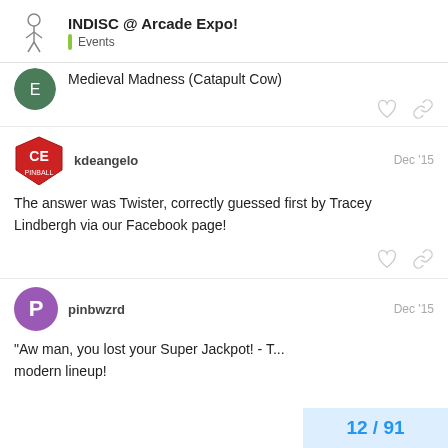INDISC @ Arcade Expo! | Events
Medieval Madness (Catapult Cow)
kdeangelo  Dec '15
The answer was Twister, correctly guessed first by Tracey Lindbergh via our Facebook page!
pinbwzrd  Dec '15
"Aw man, you lost your Super Jackpot! - T... modern lineup!